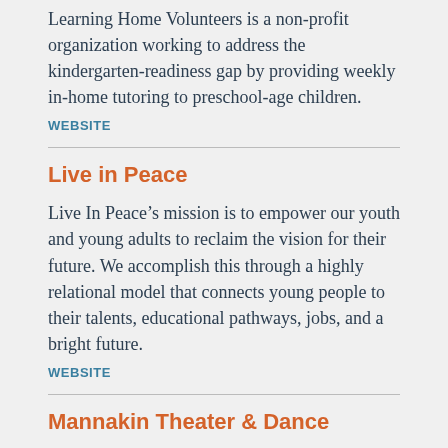Learning Home Volunteers is a non-profit organization working to address the kindergarten-readiness gap by providing weekly in-home tutoring to preschool-age children.
WEBSITE
Live in Peace
Live In Peace's mission is to empower our youth and young adults to reclaim the vision for their future. We accomplish this through a highly relational model that connects young people to their talents, educational pathways, jobs, and a bright future.
WEBSITE
Mannakin Theater & Dance
The mission of Mannakin Theater & Dance is to expand